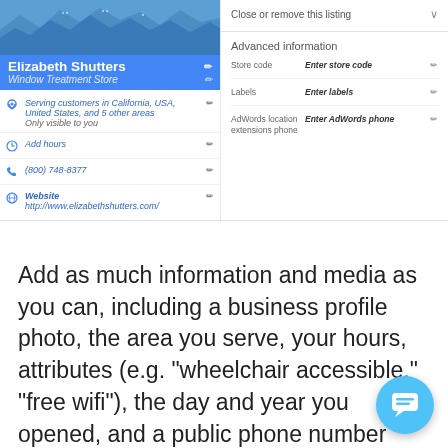[Figure (screenshot): Google My Business listing editor screenshot showing Elizabeth Shutters business profile on the left (with business name, type 'Window Treatment Store', serving area in California USA, Add hours, phone (800) 748-8377, and Website with URL http://www.elizabethshutters.com/) and on the right a panel with 'Close or remove this listing', 'Advanced information' section including Store code, Labels, and AdWords location extensions phone fields.]
Add as much information and media as you can, including a business profile photo, the area you serve, your hours, attributes (e.g. "wheelchair accessible," "free wifi"), the day and year you opened, and a public phone number and web URL.